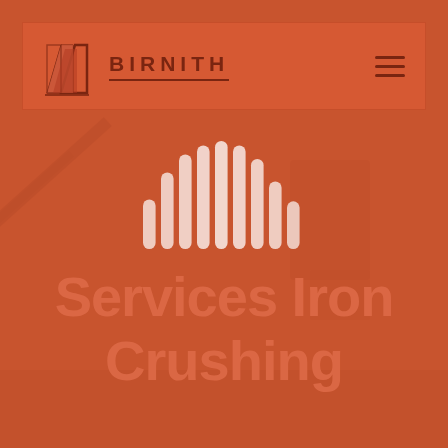[Figure (screenshot): Birnith company website screenshot with orange/red overlay showing header navigation with logo and hamburger menu, background photo of iron crushing machinery, decorative sound-wave bars graphic, and large hero text reading 'Services Iron Crushing']
BIRNITH
Services Iron Crushing